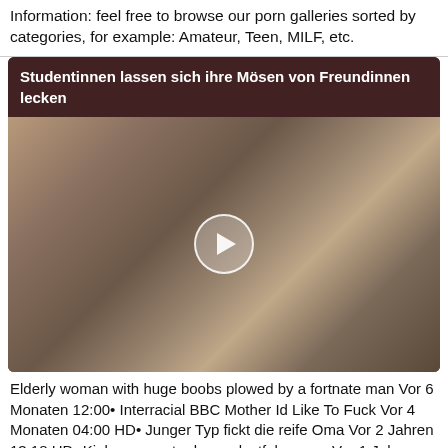Information: feel free to browse our porn galleries sorted by categories, for example: Amateur, Teen, MILF, etc.
[Figure (screenshot): Video thumbnail with title overlay 'Studentinnen lassen sich ihre Mösen von Freundinnen lecken' and a play button in the center]
Elderly woman with huge boobs plowed by a fortnate man Vor 6 Monaten 12:00• Interracial BBC Mother Id Like To Fuck Vor 4 Monaten 04:00 HD• Junger Typ fickt die reife Oma Vor 2 Jahren 13:18 HD• Kinky youngster bangs lustful granny Vor 1 Jahr 22:38 HD• Old grandma wants a good fuck Vor 2 Jahren 06:15 HD• Older gilf gets facial after sucking Vor 4 Monaten 06:16 HD• Das sind die 5 best bewerteten Pornos in dieser